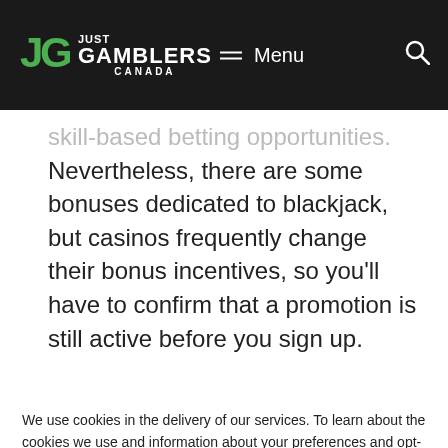JG JUST GAMBLERS CANADA — Menu 🔍
skill-based betting opportunities. Nevertheless, there are some bonuses dedicated to blackjack, but casinos frequently change their bonus incentives, so you'll have to confirm that a promotion is still active before you sign up.
We use cookies in the delivery of our services. To learn about the cookies we use and information about your preferences and opt-out choices, please . By using our platform you agree to our use of cookies.
Agree & proceed!